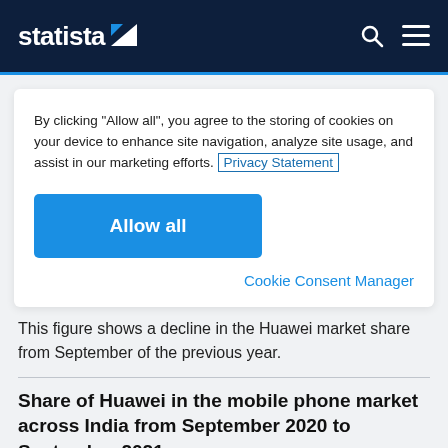statista
By clicking “Allow all”, you agree to the storing of cookies on your device to enhance site navigation, analyze site usage, and assist in our marketing efforts. Privacy Statement
Allow all
Cookie Consent Manager
This figure shows a decline in the Huawei market share from September of the previous year.
Share of Huawei in the mobile phone market across India from September 2020 to September 2021